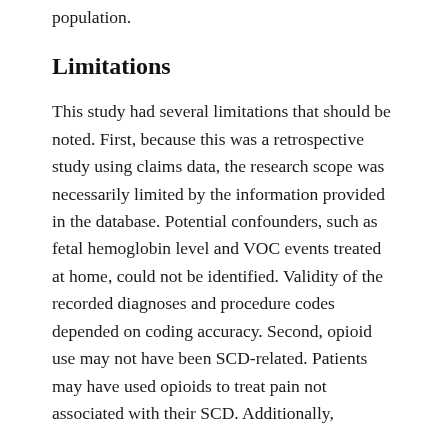population.
Limitations
This study had several limitations that should be noted. First, because this was a retrospective study using claims data, the research scope was necessarily limited by the information provided in the database. Potential confounders, such as fetal hemoglobin level and VOC events treated at home, could not be identified. Validity of the recorded diagnoses and procedure codes depended on coding accuracy. Second, opioid use may not have been SCD-related. Patients may have used opioids to treat pain not associated with their SCD. Additionally,